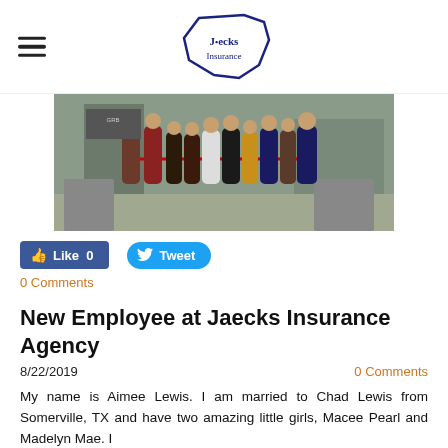Jaecks Insurance (logo)
[Figure (photo): Group photo of people standing in front of a building during a ribbon cutting ceremony, with a red ribbon stretched across.]
Like 0   Tweet
0 Comments
New Employee at Jaecks Insurance Agency
8/22/2019
0 Comments
My name is Aimee Lewis. I am married to Chad Lewis from Somerville, TX and have two amazing little girls, Macee Pearl and Madelyn Mae. I